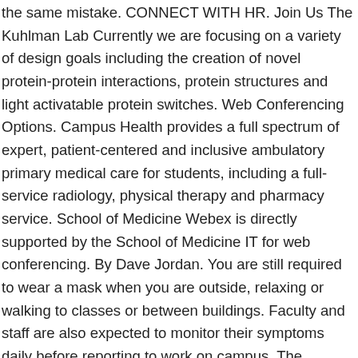the same mistake. CONNECT WITH HR. Join Us The Kuhlman Lab Currently we are focusing on a variety of design goals including the creation of novel protein-protein interactions, protein structures and light activatable protein switches. Web Conferencing Options. Campus Health provides a full spectrum of expert, patient-centered and inclusive ambulatory primary medical care for students, including a full-service radiology, physical therapy and pharmacy service. School of Medicine Webex is directly supported by the School of Medicine IT for web conferencing. By Dave Jordan. You are still required to wear a mask when you are outside, relaxing or walking to classes or between buildings. Faculty and staff are also expected to monitor their symptoms daily before reporting to work on campus. The University is currently operating under Reduced Campus Services and Operations due to COVID-19. 385 Unc Chapel Hill $55,000 jobs available in Raleigh-Durham, NC on Indeed.com. After he participated in the UNC football program's annual senior day, it appeared as if Tomon Fox was